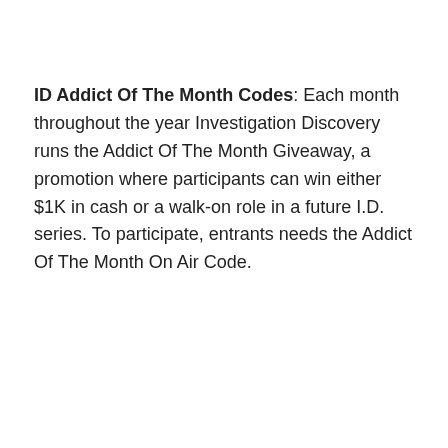ID Addict Of The Month Codes: Each month throughout the year Investigation Discovery runs the Addict Of The Month Giveaway, a promotion where participants can win either $1K in cash or a walk-on role in a future I.D. series. To participate, entrants needs the Addict Of The Month On Air Code.